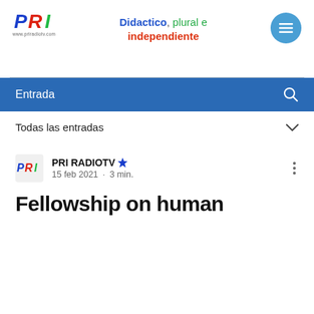[Figure (logo): PRI RadioTV logo with colored letters P (blue), R (red), I (green) and website url www.priradiotv.com]
Didactico, plural e independiente
Entrada
Todas las entradas
PRI RADIOTV
15 feb 2021 · 3 min.
Fellowship on human